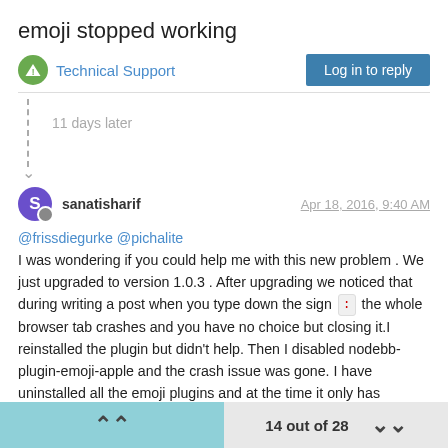emoji stopped working
Technical Support
Log in to reply
11 days later
sanatisharif
Apr 18, 2016, 9:40 AM
@frissdiegurke @pichalite
I was wondering if you could help me with this new problem . We just upgraded to version 1.0.3 . After upgrading we noticed that during writing a post when you type down the sign : the whole browser tab crashes and you have no choice but closing it.I reinstalled the plugin but didn't help. Then I disabled nodebb-plugin-emoji-apple and the crash issue was gone. I have uninstalled all the emoji plugins and at the time it only has nodebb-plugin-emoji-extended and nodebb-plugin-emoji-apple which is disabled.
14 out of 28